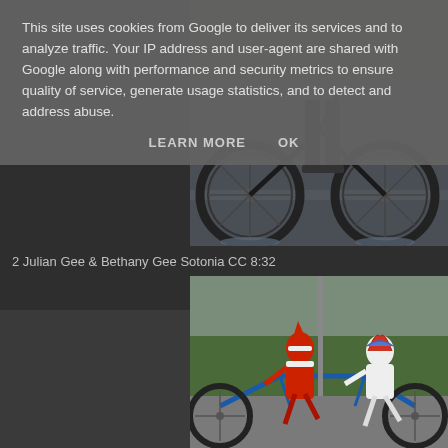This site uses cookies from Google to deliver its services and to analyze traffic. Your IP address and user-agent are shared with Google along with performance and security metrics to ensure quality of service, generate usage statistics, and to detect and address abuse.
LEARN MORE    OK
[Figure (photo): Close-up photo of cyclists riding bicycles on a wet road, showing wheels and lower bodies.]
2 Julian Gee & Bethany Gee Sotonia CC 8:32
[Figure (photo): Two cyclists riding a tandem bicycle on a road, dressed in festive costumes — one in a red Santa suit, one in a white reindeer outfit.]